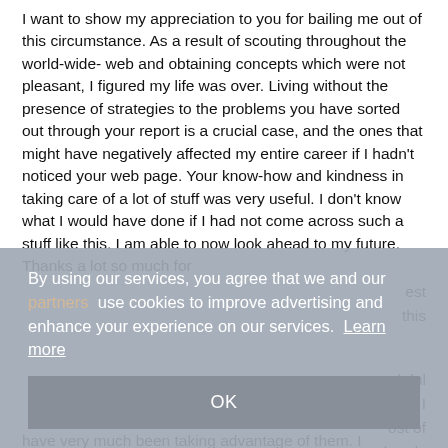I want to show my appreciation to you for bailing me out of this circumstance. As a result of scouting throughout the world-wide-web and obtaining concepts which were not pleasant, I figured my life was over. Living without the presence of strategies to the problems you have sorted out through your report is a crucial case, and the ones that might have negatively affected my entire career if I hadn't noticed your web page. Your know-how and kindness in taking care of a lot of stuff was very useful. I don't know what I would have done if I had not come across such a stuff like this. I am able to now look ahead to my future. Thanks a lot so much for ... [partially obscured by cookie overlay] ... elpful ... ing I ... ost of ... already have very much been taking advantage of them. I appreciate you
[Figure (screenshot): Cookie consent overlay dialog with text: 'By using our services, you agree that we and our [partners] use cookies to improve advertising and enhance your experience on our services. Learn more' and an OK button.]